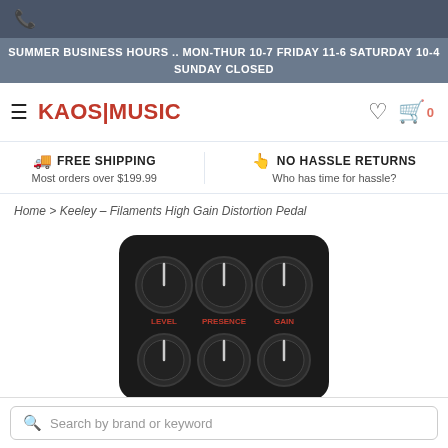📞
SUMMER BUSINESS HOURS .. MON-THUR 10-7 FRIDAY 11-6 SATURDAY 10-4 SUNDAY CLOSED
KAOS|MUSIC
FREE SHIPPING
Most orders over $199.99
NO HASSLE RETURNS
Who has time for hassle?
Home > Keeley – Filaments High Gain Distortion Pedal
[Figure (photo): Close-up photo of a guitar effects pedal (Keeley Filaments High Gain Distortion Pedal). The pedal has a dark/black enclosure with six control knobs arranged in two rows of three. The top row labels read LEVEL, PRESENCE, GAIN in red text.]
Search by brand or keyword